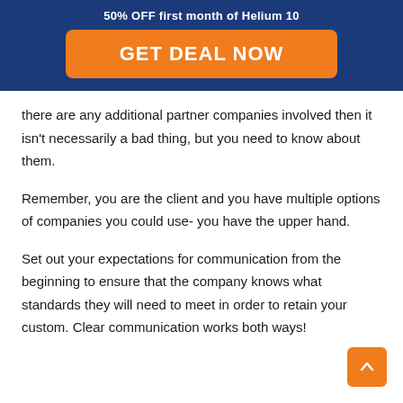50% OFF first month of Helium 10
[Figure (other): Orange CTA button with text GET DEAL NOW on dark blue banner background]
there are any additional partner companies involved then it isn't necessarily a bad thing, but you need to know about them.
Remember, you are the client and you have multiple options of companies you could use- you have the upper hand.
Set out your expectations for communication from the beginning to ensure that the company knows what standards they will need to meet in order to retain your custom. Clear communication works both ways!